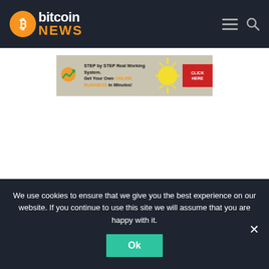bitcoin NEWS
[Figure (screenshot): Advertisement banner: STEP by STEP Real Working System. Get Your Own ONLINE BUSINESS in Minutes! CLICK HERE]
We use cookies to ensure that we give you the best experience on our website. If you continue to use this site we will assume that you are happy with it.